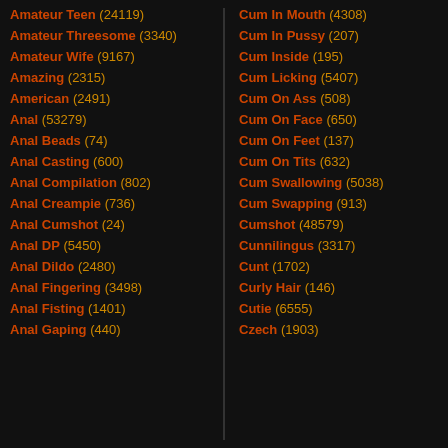Amateur Teen (24119)
Amateur Threesome (3340)
Amateur Wife (9167)
Amazing (2315)
American (2491)
Anal (53279)
Anal Beads (74)
Anal Casting (600)
Anal Compilation (802)
Anal Creampie (736)
Anal Cumshot (24)
Anal DP (5450)
Anal Dildo (2480)
Anal Fingering (3498)
Anal Fisting (1401)
Anal Gaping (440)
Cum In Mouth (4308)
Cum In Pussy (207)
Cum Inside (195)
Cum Licking (5407)
Cum On Ass (508)
Cum On Face (650)
Cum On Feet (137)
Cum On Tits (632)
Cum Swallowing (5038)
Cum Swapping (913)
Cumshot (48579)
Cunnilingus (3317)
Cunt (1702)
Curly Hair (146)
Cutie (6555)
Czech (1903)